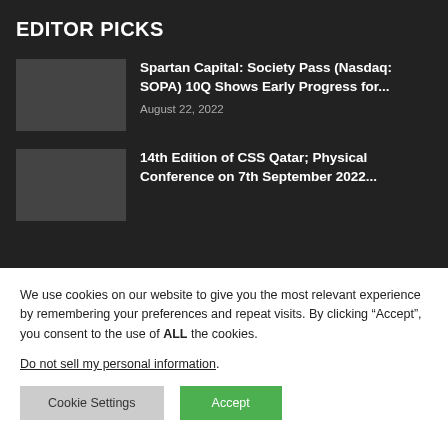EDITOR PICKS
Spartan Capital: Society Pass (Nasdaq: SOPA) 10Q Shows Early Progress for...
August 22, 2022
14th Edition of CSS Qatar; Physical Conference on 7th September 2022...
We use cookies on our website to give you the most relevant experience by remembering your preferences and repeat visits. By clicking “Accept”, you consent to the use of ALL the cookies.
Do not sell my personal information.
Cookie Settings
Accept